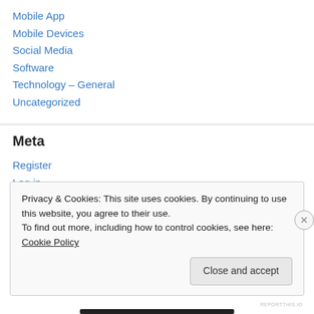Mobile App
Mobile Devices
Social Media
Software
Technology – General
Uncategorized
Meta
Register
Log in
Entries feed
Privacy & Cookies: This site uses cookies. By continuing to use this website, you agree to their use.
To find out more, including how to control cookies, see here: Cookie Policy
Close and accept